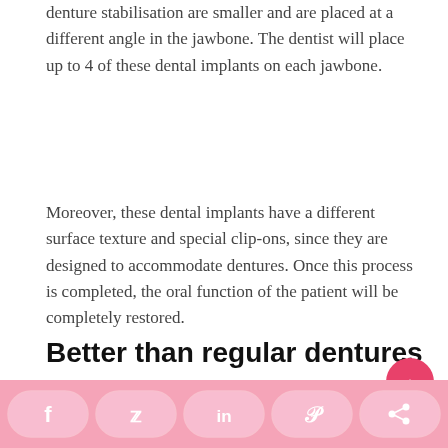denture stabilisation are smaller and are placed at a different angle in the jawbone. The dentist will place up to 4 of these dental implants on each jawbone.
Moreover, these dental implants have a different surface texture and special clip-ons, since they are designed to accommodate dentures. Once this process is completed, the oral function of the patient will be completely restored.
Not everyone is available for this treatment, however, therefore consulting a dentist in advance is highly recommended.
Better than regular dentures
[Figure (other): Social media sharing bar with Facebook, Twitter, LinkedIn, Pinterest, and share buttons in pink rounded pill shapes, plus a pink circular scroll-to-top button with an upward chevron.]